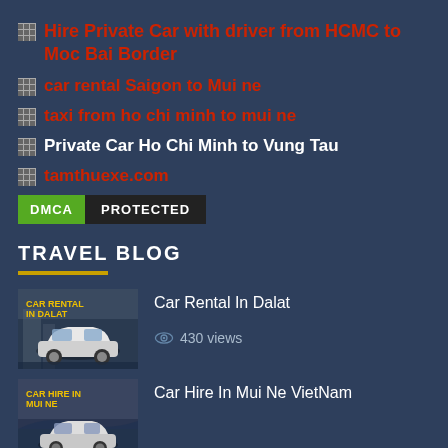Hire Private Car with driver from HCMC to Moc Bai Border
car rental Saigon to Mui ne
taxi from ho chi minh to mui ne
Private Car Ho Chi Minh to Vung Tau
tamthuexe.com
[Figure (logo): DMCA PROTECTED badge]
TRAVEL BLOG
[Figure (photo): Car Rental In Dalat thumbnail showing a white SUV with text CAR RENTAL IN DALAT]
Car Rental In Dalat
430 views
[Figure (photo): Car Hire In Mui Ne VietNam thumbnail showing a car with mountain/sea background and text CAR HIRE IN MUI NE]
Car Hire In Mui Ne VietNam